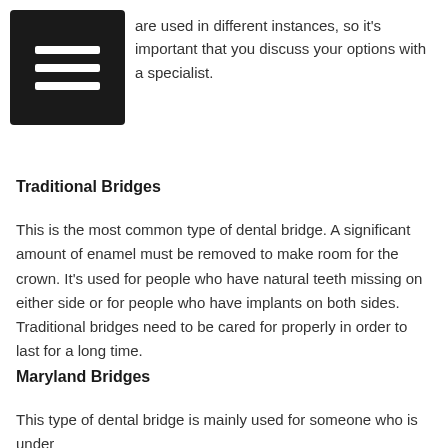[Figure (other): Black square icon with three horizontal white lines (hamburger/menu icon)]
are used in different instances, so it's important that you discuss your options with a specialist.
Traditional Bridges
This is the most common type of dental bridge. A significant amount of enamel must be removed to make room for the crown. It's used for people who have natural teeth missing on either side or for people who have implants on both sides. Traditional bridges need to be cared for properly in order to last for a long time.
Maryland Bridges
This type of dental bridge is mainly used for someone who is under